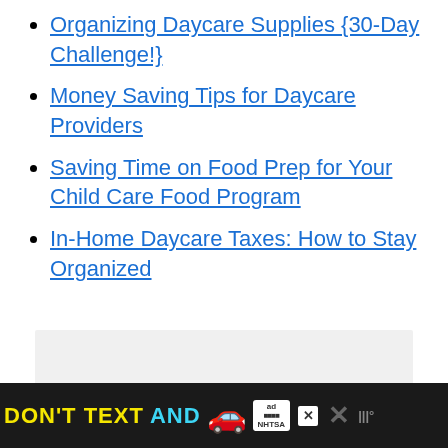Organizing Daycare Supplies {30-Day Challenge!}
Money Saving Tips for Daycare Providers
Saving Time on Food Prep for Your Child Care Food Program
In-Home Daycare Taxes: How to Stay Organized
[Figure (other): Gray advertisement placeholder box]
DON'T TEXT AND [car emoji] ad NHTSA X [close icons]